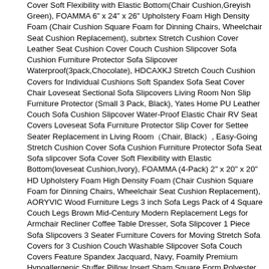Cover Soft Flexibility with Elastic Bottom(Chair Cushion,Greyish Green), FOAMMA 6" x 24" x 26" Upholstery Foam High Density Foam (Chair Cushion Square Foam for Dinning Chairs, Wheelchair Seat Cushion Replacement), subrtex Stretch Cushion Cover Leather Seat Cushion Cover Couch Cushion Slipcover Sofa Cushion Furniture Protector Sofa Slipcover Waterproof(3pack,Chocolate), HDCAXKJ Stretch Couch Cushion Covers for Individual Cushions Soft Spandex Sofa Seat Cover Chair Loveseat Sectional Sofa Slipcovers Living Room Non Slip Furniture Protector (Small 3 Pack, Black), Yates Home PU Leather Couch Sofa Cushion Slipcover Water-Proof Elastic Chair RV Seat Covers Loveseat Sofa Furniture Protector Slip Cover for Settee Seater Replacement in Living Room（Chair, Black）, Easy-Going Stretch Cushion Cover Sofa Cushion Furniture Protector Sofa Seat Sofa slipcover Sofa Cover Soft Flexibility with Elastic Bottom(loveseat Cushion,Ivory), FOAMMA (4-Pack) 2" x 20" x 20" HD Upholstery Foam High Density Foam (Chair Cushion Square Foam for Dinning Chairs, Wheelchair Seat Cushion Replacement), AORYVIC Wood Furniture Legs 3 inch Sofa Legs Pack of 4 Square Couch Legs Brown Mid-Century Modern Replacement Legs for Armchair Recliner Coffee Table Dresser, Sofa Slipcover 1 Piece Sofa Slipcovers 3 Seater Furniture Covers for Moving Stretch Sofa Covers for 3 Cushion Couch Washable Slipcover Sofa Couch Covers Feature Spandex Jacquard, Navy, Foamily Premium Hypoallergenic Stuffer Pillow Insert Sham Square Form Polyester, 22" L X 22" W, Standard/White, Wake In Cloud - Sofa Cover 100% Waterproof Non-Slip, Pets Dogs Cats Kids Furniture Protector 3 Cushion Couch Slip Cover, Elastic Strap, Botanical Floral Pattern on Ivory (70" Sofa), High Density Upholstery Foam 1.8 Pound Density and 46 ILD Length 24 Width 24 Height 5 Inches Thick Easy to